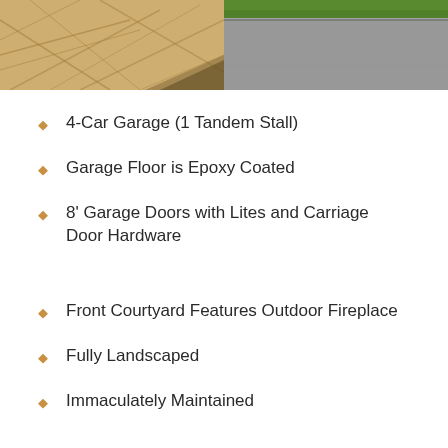[Figure (photo): Two side-by-side photos: left shows stamped/patterned concrete driveway in tan/beige tones, right shows grey aggregate concrete driveway with green grass visible at top]
4-Car Garage (1 Tandem Stall)
Garage Floor is Epoxy Coated
8' Garage Doors with Lites and Carriage Door Hardware
Front Courtyard Features Outdoor Fireplace
Fully Landscaped
Immaculately Maintained